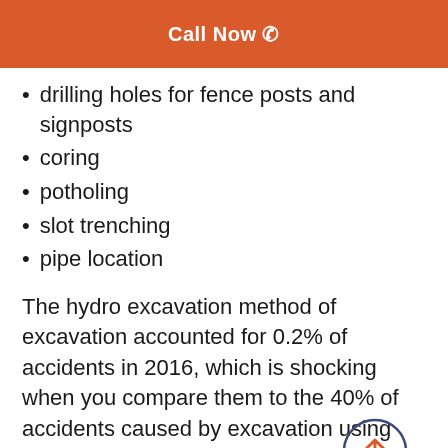Call Now
drilling holes for fence posts and signposts
coring
potholing
slot trenching
pipe location
The hydro excavation method of excavation accounted for 0.2% of accidents in 2016, which is shocking when you compare them to the 40% of accidents caused by excavation using backhoes and trenchers.
Hand-digging has often been considered a safe alternative, but it